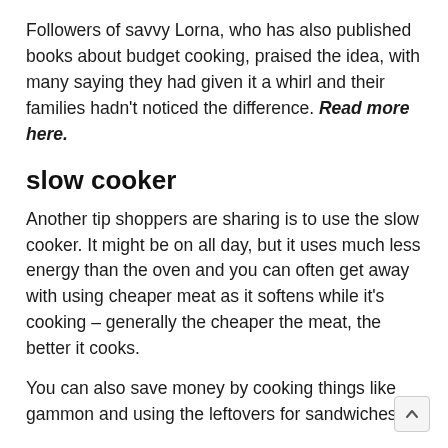Followers of savvy Lorna, who has also published books about budget cooking, praised the idea, with many saying they had given it a whirl and their families hadn't noticed the difference. Read more here.
slow cooker
Another tip shoppers are sharing is to use the slow cooker. It might be on all day, but it uses much less energy than the oven and you can often get away with using cheaper meat as it softens while it's cooking – generally the cheaper the meat, the better it cooks.
You can also save money by cooking things like gammon and using the leftovers for sandwiches,